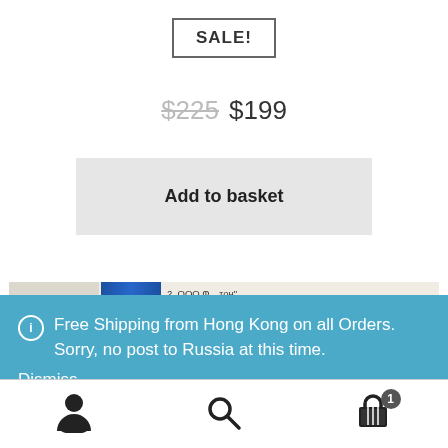SALE!
$225  $199
Add to basket
[Figure (photo): Close-up photo of a blue binder/folder on top of documents with Cyrillic text. Text visible includes '2. ООО Ф...тон', 'ул. Энг...н-1, Чистополь, Респуб...', 'Виды де...производство и реализаци...', 'времени...ых частей.', 'Монолит']
ⓘ Free Shipping from Hong Kong on all Orders. Sorry, no post to Russia at this time.
Dismiss